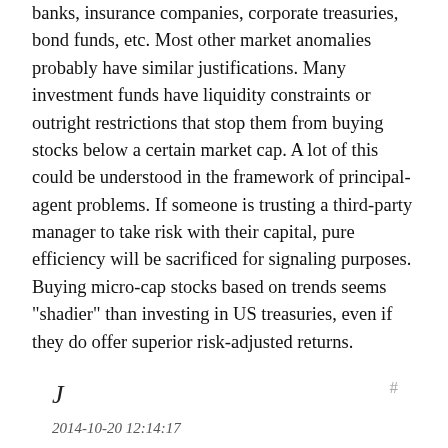banks, insurance companies, corporate treasuries, bond funds, etc. Most other market anomalies probably have similar justifications. Many investment funds have liquidity constraints or outright restrictions that stop them from buying stocks below a certain market cap. A lot of this could be understood in the framework of principal-agent problems. If someone is trusting a third-party manager to take risk with their capital, pure efficiency will be sacrificed for signaling purposes. Buying micro-cap stocks based on trends seems "shadier" than investing in US treasuries, even if they do offer superior risk-adjusted returns.
J
2014-10-20 12:14:17
↑ 0 ↓ 0
That has always been my thinking as well, though I'm open to the possibility that the U.S. (and the North Atlantic economies more broadly) have gotten lucky by virtue of not collapsing or being destroyed in war the way pretty much everybody else has at various points in the past